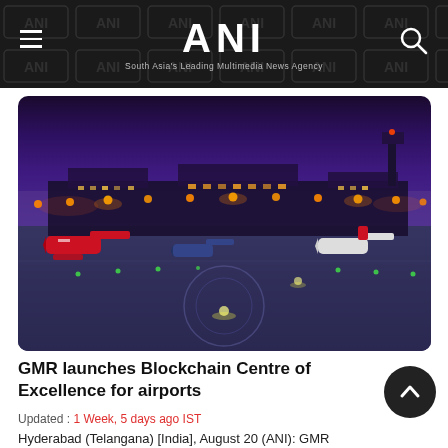ANI — South Asia's Leading Multimedia News Agency
[Figure (photo): Aerial night view of an airport tarmac with aircraft parked at gates, orange runway lights glowing against a purple-blue twilight sky with terminal buildings in background]
GMR launches Blockchain Centre of Excellence for airports
Updated : 1 Week, 5 days ago IST
Hyderabad (Telangana) [India], August 20 (ANI): GMR